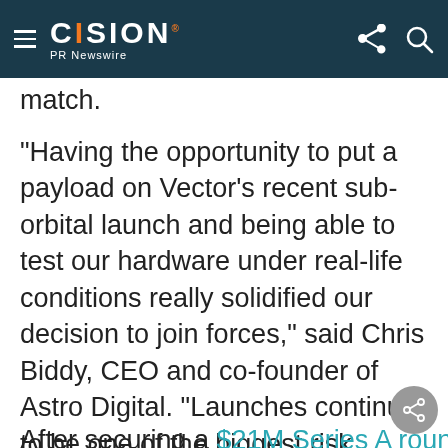CISION PR Newswire
match.
"Having the opportunity to put a payload on Vector's recent sub-orbital launch and being able to test our hardware under real-life conditions really solidified our decision to join forces," said Chris Biddy, CEO and co-founder of Astro Digital. "Launches continue to be one of the biggest risk factors for our business, but partnering for a dedicated launch with Vector means we set the orbit and we set the launch date, which effectively lowers our risk and cost."
After securing a $21M Series A round led by Sequoia Capital earlier this year, Vector has accelerated its